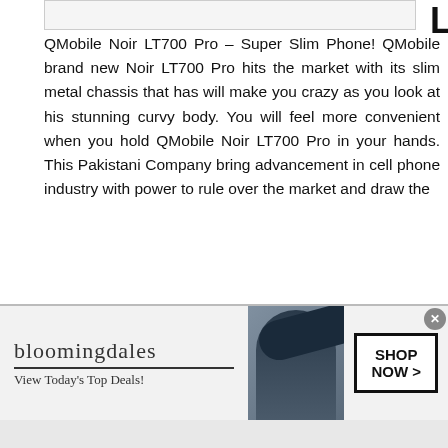LT700 Pro
QMobile Noir LT700 Pro – Super Slim Phone! QMobile brand new Noir LT700 Pro hits the market with its slim metal chassis that has will make you crazy as you look at his stunning curvy body. You will feel more convenient when you hold QMobile Noir LT700 Pro in your hands. This Pakistani Company bring advancement in cell phone industry with power to rule over the market and draw the
[Figure (photo): QMobile Noir Z14 smartphone photo with watermark promobiles.net]
Qmobile Noir Z14
NO COMMENTS
LATEST MOBILES, QMOBILE MOBILE
QMobile Noir Z14
[Figure (photo): Bloomingdales advertisement banner with woman in hat, Shop Now button]
bloomingdales
View Today's Top Deals!
SHOP NOW >